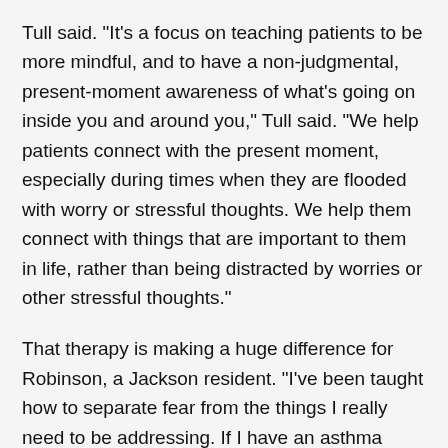Tull said. "It's a focus on teaching patients to be more mindful, and to have a non-judgmental, present-moment awareness of what's going on inside you and around you," Tull said. "We help patients connect with the present moment, especially during times when they are flooded with worry or stressful thoughts. We help them connect with things that are important to them in life, rather than being distracted by worries or other stressful thoughts."
That therapy is making a huge difference for Robinson, a Jackson resident. "I've been taught how to separate fear from the things I really need to be addressing. If I have an asthma attack, I need to focus and be aware of where I am right now, and not in the future."
Understanding a person's whole health picture by asking